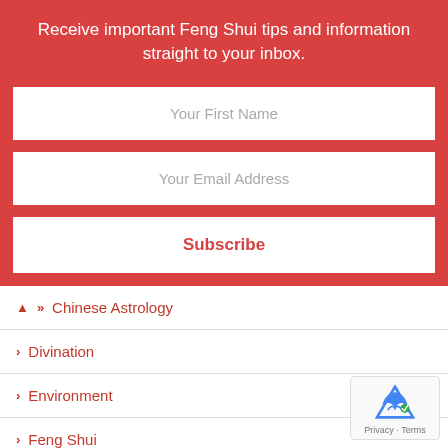Receive important Feng Shui tips and information straight to your inbox.
Your First Name
Your Email Address
Subscribe
Chinese Astrology
Divination
Environment
Feng Shui
Professional Organising